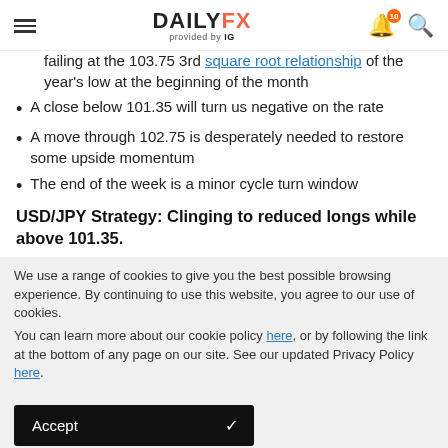DAILYFX provided by IG
failing at the 103.75 3rd square root relationship of the year's low at the beginning of the month
A close below 101.35 will turn us negative on the rate
A move through 102.75 is desperately needed to restore some upside momentum
The end of the week is a minor cycle turn window
USD/JPY Strategy: Clinging to reduced longs while above 101.35.
We use a range of cookies to give you the best possible browsing experience. By continuing to use this website, you agree to our use of cookies.
You can learn more about our cookie policy here, or by following the link at the bottom of any page on our site. See our updated Privacy Policy here.